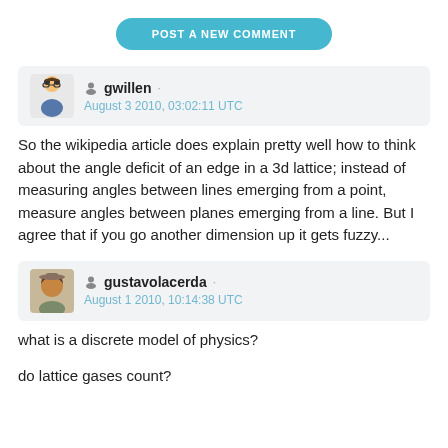POST A NEW COMMENT
gwillen · August 3 2010, 03:02:11 UTC
So the wikipedia article does explain pretty well how to think about the angle deficit of an edge in a 3d lattice; instead of measuring angles between lines emerging from a point, measure angles between planes emerging from a line. But I agree that if you go another dimension up it gets fuzzy...
gustavolacerda · August 1 2010, 10:14:38 UTC
what is a discrete model of physics?
do lattice gases count?